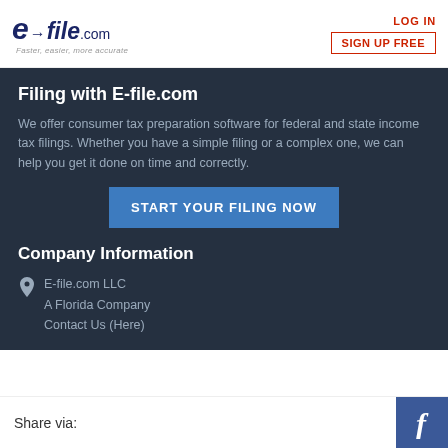[Figure (logo): E-file.com logo with tagline 'Faster, easier, more accurate']
LOG IN
SIGN UP FREE
Filing with E-file.com
We offer consumer tax preparation software for federal and state income tax filings. Whether you have a simple filing or a complex one, we can help you get it done on time and correctly.
START YOUR FILING NOW
Company Information
E-file.com LLC
A Florida Company
Contact Us (Here)
Share via:
[Figure (logo): Facebook logo icon (white 'f' on blue background)]